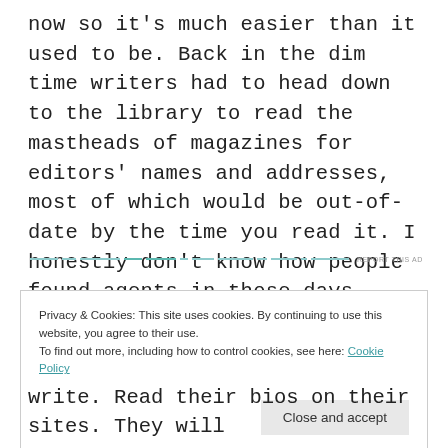now so it's much easier than it used to be. Back in the dim time writers had to head down to the library to read the mastheads of magazines for editors' names and addresses, most of which would be out-of-date by the time you read it. I honestly don't know how people found agents in those days. Probably going through the phone book.
[Figure (other): Advertisement divider with dashed teal lines and 'REPORT THIS AD' text]
Privacy & Cookies: This site uses cookies. By continuing to use this website, you agree to their use.
To find out more, including how to control cookies, see here: Cookie Policy
Close and accept
write. Read their bios on their sites. They will